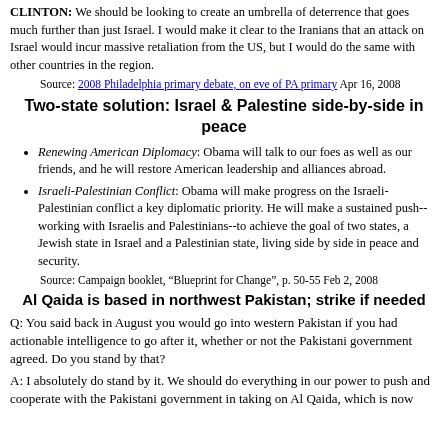CLINTON: We should be looking to create an umbrella of deterrence that goes much further than just Israel. I would make it clear to the Iranians that an attack on Israel would incur massive retaliation from the US, but I would do the same with other countries in the region.
Source: 2008 Philadelphia primary debate, on eve of PA primary Apr 16, 2008
Two-state solution: Israel & Palestine side-by-side in peace
Renewing American Diplomacy: Obama will talk to our foes as well as our friends, and he will restore American leadership and alliances abroad.
Israeli-Palestinian Conflict: Obama will make progress on the Israeli-Palestinian conflict a key diplomatic priority. He will make a sustained push--working with Israelis and Palestinians--to achieve the goal of two states, a Jewish state in Israel and a Palestinian state, living side by side in peace and security.
Source: Campaign booklet, “Blueprint for Change”, p. 50-55 Feb 2, 2008
Al Qaida is based in northwest Pakistan; strike if needed
Q: You said back in August you would go into western Pakistan if you had actionable intelligence to go after it, whether or not the Pakistani government agreed. Do you stand by that?
A: I absolutely do stand by it. We should do everything in our power to push and cooperate with the Pakistani government in taking on Al Qaida, which is now